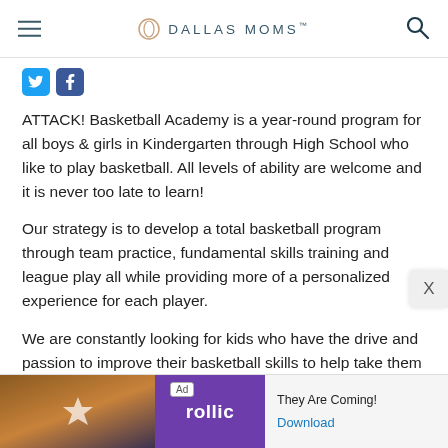DALLAS MOMS
[Figure (logo): Twitter and Facebook social media icon buttons]
ATTACK! Basketball Academy is a year-round program for all boys & girls in Kindergarten through High School who like to play basketball. All levels of ability are welcome and it is never too late to learn!
Our strategy is to develop a total basketball program through team practice, fundamental skills training and league play all while providing more of a personalized experience for each player.
We are constantly looking for kids who have the drive and passion to improve their basketball skills to help take them to the next level. ATTACK! Basketball
[Figure (screenshot): Ad banner for Rollic game — They Are Coming! with Download link]